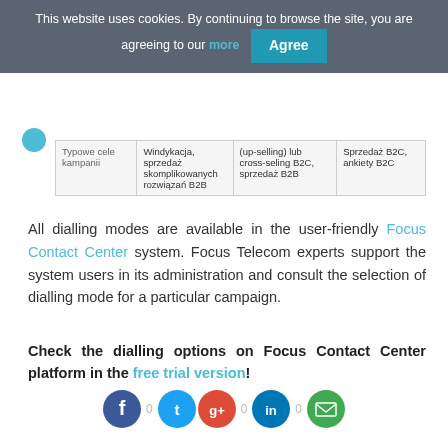This website uses cookies. By continuing to browse the site, you are agreeing to our more [Agree]
| Typowe cele kampanii | Windykacja, sprzedaż skomplikowanych rozwiązań B2B | (up-selling) lub cross-seling B2C, sprzedaż B2B | Sprzedaż B2C, ankiety B2C |
All dialling modes are available in the user-friendly Focus Contact Center system. Focus Telecom experts support the system users in its administration and consult the selection of dialling mode for a particular campaign.
Check the dialling options on Focus Contact Center platform in the free trial version!
[Figure (other): Social sharing icons row: Facebook (0), Twitter, Google+ (0), LinkedIn (0), Email]